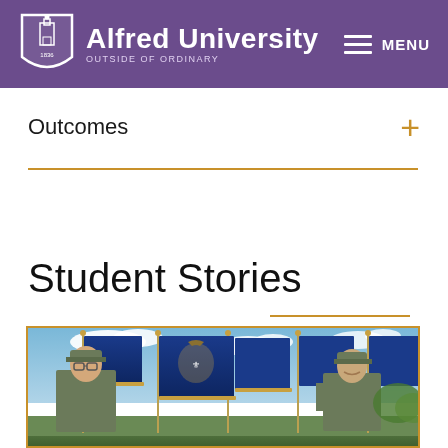Alfred University — Outside of Ordinary
Outcomes
Student Stories
[Figure (photo): Two military personnel in camouflage uniforms and caps holding large blue flags (including the New York State flag) against a bright sky with clouds]